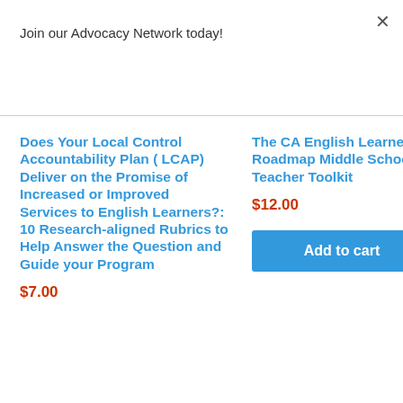Join our Advocacy Network today!
Does Your Local Control Accountability Plan ( LCAP) Deliver on the Promise of Increased or Improved Services to English Learners?: 10 Research-aligned Rubrics to Help Answer the Question and Guide your Program
$7.00
The CA English Learner Roadmap Middle School Teacher Toolkit
$12.00
Add to cart